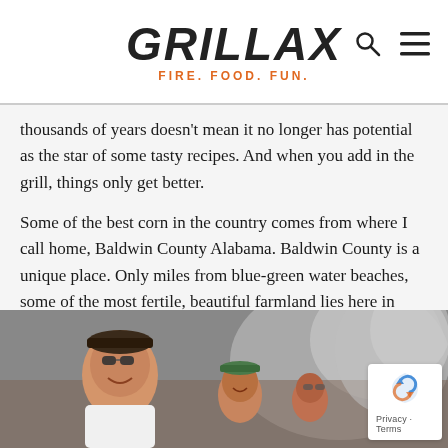GRILLAX — FIRE. FOOD. FUN.
thousands of years doesn't mean it no longer has potential as the star of some tasty recipes. And when you add in the grill, things only get better.
Some of the best corn in the country comes from where I call home, Baldwin County Alabama. Baldwin County is a unique place. Only miles from blue-green water beaches, some of the most fertile, beautiful farmland lies here in southern Alabama. And that's why I love the place so much...you can spend your morning catching redfish and then drive 10 miles to a farmer's market to get your homegrown sides.
[Figure (photo): Group of people outdoors, smiling, with smoke visible in the background, appearing to be at a cookout or grilling event.]